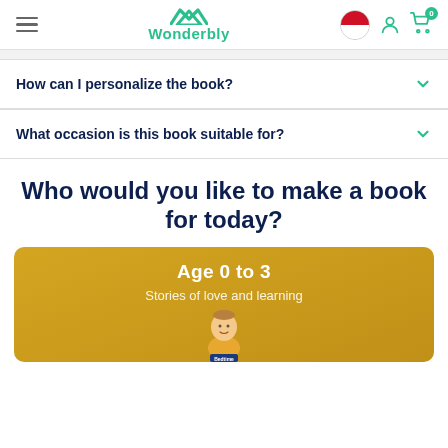Wonderbly navigation bar with hamburger menu, logo, flag, user and cart icons
How can I personalize the book?
What occasion is this book suitable for?
Who would you like to make a book for today?
[Figure (photo): Gold-colored age category card showing 'Age 0 to 3' and 'Stories of love and learning' with a baby/toddler image holding a bedtime book]